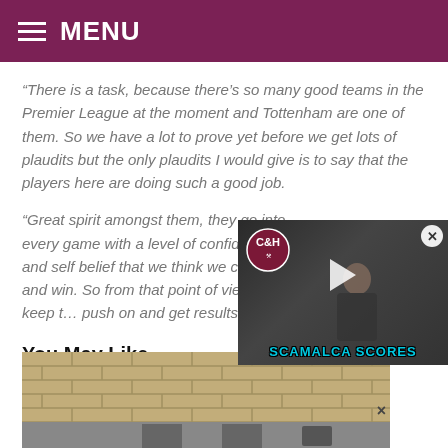MENU
“There is a task, because there’s so many good teams in the Premier League at the moment and Tottenham are one of them. So we have a lot to prove yet before we get lots of plaudits but the only plaudits I would give is to say that the players here are doing such a good job.
“Great spirit amongst them, they go into every game with a level of confidence and self belief that we think we can go and win. So from that point of view, we’ll keep t… push on and get results.”
You May Like
[Figure (photo): A video popup overlay showing a man wearing glasses in what appears to be a bar setting, with C&H logo and text 'SCAMALCA SCORES' at the bottom in teal/cyan colored text]
[Figure (photo): A building exterior showing brick wall and what appears to be a gate or structure at the bottom of the page]